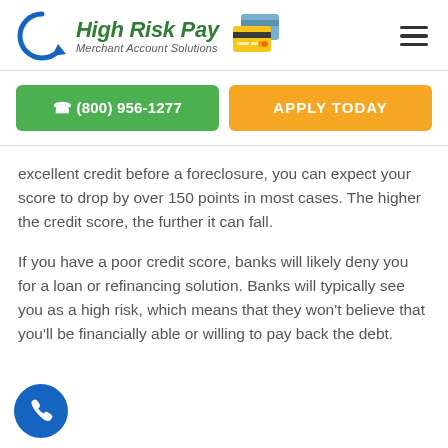[Figure (logo): High Risk Pay Merchant Account Solutions logo with blue arrow icon and credit card illustration, plus hamburger menu icon]
☎ (800) 956-1277
APPLY TODAY
excellent credit before a foreclosure, you can expect your score to drop by over 150 points in most cases. The higher the credit score, the further it can fall.
If you have a poor credit score, banks will likely deny you for a loan or refinancing solution. Banks will typically see you as a high risk, which means that they won't believe that you'll be financially able or willing to pay back the debt.
[Figure (illustration): Blue circular phone/call button (FAB) in bottom left corner]